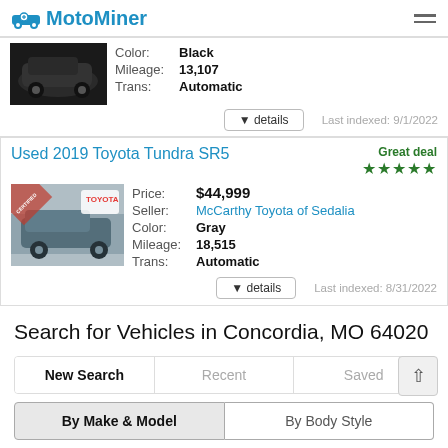MotoMiner
Color: Black | Mileage: 13,107 | Trans: Automatic | Last indexed: 9/1/2022
Used 2019 Toyota Tundra SR5
Price: $44,999 | Seller: McCarthy Toyota of Sedalia | Color: Gray | Mileage: 18,515 | Trans: Automatic | Last indexed: 8/31/2022
Search for Vehicles in Concordia, MO 64020
New Search | Recent | Saved
By Make & Model | By Body Style